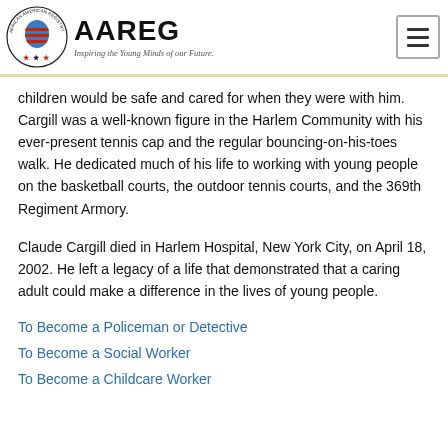AAREG — Inspiring the Young Minds of our Future.
children would be safe and cared for when they were with him. Cargill was a well-known figure in the Harlem Community with his ever-present tennis cap and the regular bouncing-on-his-toes walk. He dedicated much of his life to working with young people on the basketball courts, the outdoor tennis courts, and the 369th Regiment Armory.
Claude Cargill died in Harlem Hospital, New York City, on April 18, 2002. He left a legacy of a life that demonstrated that a caring adult could make a difference in the lives of young people.
To Become a Policeman or Detective
To Become a Social Worker
To Become a Childcare Worker